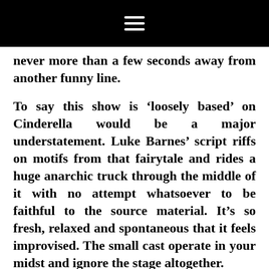≡
never more than a few seconds away from another funny line.
To say this show is 'loosely based' on Cinderella would be a major understatement. Luke Barnes' script riffs on motifs from that fairytale and rides a huge anarchic truck through the middle of it with no attempt whatsoever to be faithful to the source material. It's so fresh, relaxed and spontaneous that it feels improvised. The small cast operate in your midst and ignore the stage altogether.